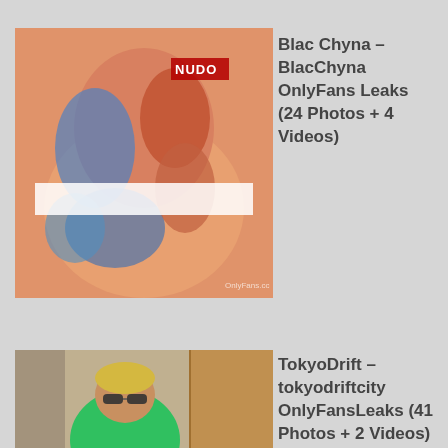[Figure (photo): Thumbnail photo showing tattooed person from behind wearing white underwear, with 'NUDO' text overlay watermark]
Blac Chyna – BlacChyna OnlyFans Leaks (24 Photos + 4 Videos)
[Figure (photo): Thumbnail photo showing a person in a green outfit with blonde hair]
TokyoDrift – tokyodriftcity OnlyFansLeaks (41 Photos + 2 Videos)